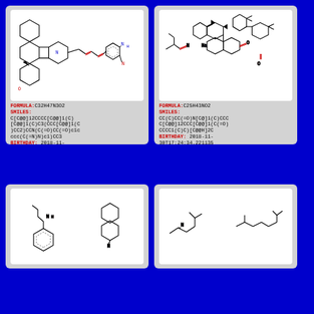[Figure (schematic): Chemical structure of a compound with formula C32H47N3O2. Complex polycyclic structure with nitrogen-containing rings, shown with bond notation including stereocenters.]
FORMULA: C32H47N3O2
SMILES:
C[C@@]12CCCC[C@@]1(C)[C@@]1(C)C3(CCC[C@@]1(C)CC2)CCN(C(=O)CC(=O)c1cccc(C(=N)N)c1)CC3
BIRTHDAY: 2018-11-30T17:24:34.213344
ATC: A10B
  ALIMENTARY TRACT AND METABOLISM
  DRUGS USED IN DIABETES
  BLOOD GLUCOSE LOWERING DRUGS, EXCL. INSULINS
Synthesis Plan
[Figure (schematic): Chemical structure of a compound with formula C25H43NO2. Polycyclic steroid-like structure with sodium label and ketone groups.]
FORMULA: C25H43NO2
SMILES:
CC(C)CC(=O)N[C@]1(C)CCCC[C@@]12CCC[C@@]1(C(=O)CCCC1(C)C)[C@@H]2C
BIRTHDAY: 2018-11-30T17:24:34.221135
ATC: M01A
  MUSCULO-SKELETAL SYSTEM
  ANTIINFLAMMATORY AND ANTIRHEUMATIC PRODUCTS
  ANTIINFLAMMATORY AND ANTIRHEUMATIC PRODUCTS, NON-STEROIDS
Synthesis Plan
[Figure (schematic): Two partial chemical structures visible in the lower left card, showing aromatic ring and bicyclic amine structures.]
[Figure (schematic): Two partial chemical structures visible in the lower right card, showing branched chain structures with nitrogen.]